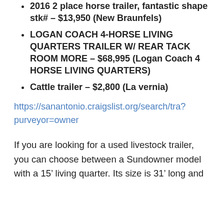2016 2 place horse trailer, fantastic shape stk# – $13,950 (New Braunfels)
LOGAN COACH 4-HORSE LIVING QUARTERS TRAILER W/ REAR TACK ROOM MORE – $68,995 (Logan Coach 4 HORSE LIVING QUARTERS)
Cattle trailer – $2,800 (La vernia)
https://sanantonio.craigslist.org/search/tra?purveyor=owner
If you are looking for a used livestock trailer, you can choose between a Sundowner model with a 15' living quarter. Its size is 31' long and